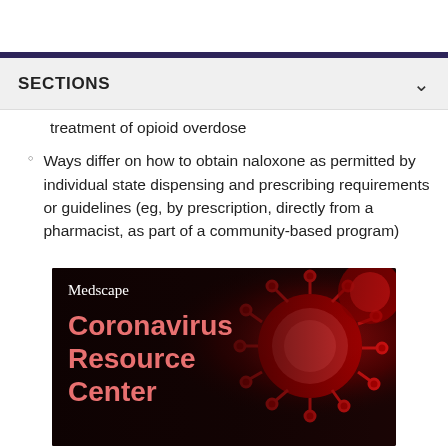SECTIONS
treatment of opioid overdose
Ways differ on how to obtain naloxone as permitted by individual state dispensing and prescribing requirements or guidelines (eg, by prescription, directly from a pharmacist, as part of a community-based program)
[Figure (illustration): Medscape Coronavirus Resource Center banner with red coronavirus particle image on dark background]